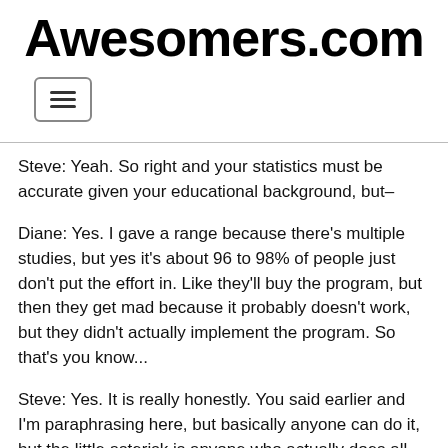Awesomers.com
Steve: Yeah. So right and your statistics must be accurate given your educational background, but–
Diane: Yes. I gave a range because there's multiple studies, but yes it's about 96 to 98% of people just don't put the effort in. Like they'll buy the program, but then they get mad because it probably doesn't work, but they didn't actually implement the program. So that's you know...
Steve: Yes. It is really honestly. You said earlier and I'm paraphrasing here, but basically anyone can do it, but the little asterisk is anyone who actually does all the work and is willing to put in the time and energy and so on and so